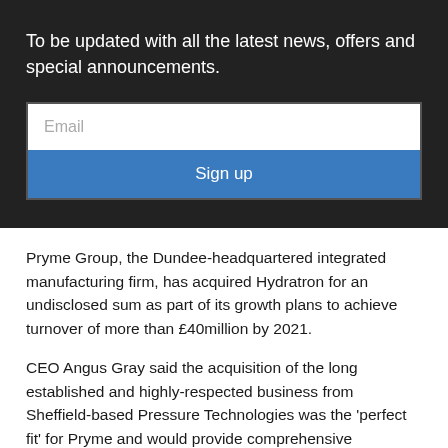To be updated with all the latest news, offers and special announcements.
[Figure (other): Email input field with placeholder text 'Email' and a blue 'Sign up' button below it]
Pryme Group, the Dundee-headquartered integrated manufacturing firm, has acquired Hydratron for an undisclosed sum as part of its growth plans to achieve turnover of more than £40million by 2021.
CEO Angus Gray said the acquisition of the long established and highly-respected business from Sheffield-based Pressure Technologies was the 'perfect fit' for Pryme and would provide comprehensive engineering services to clients across large parts of the UK as well as increase the group's